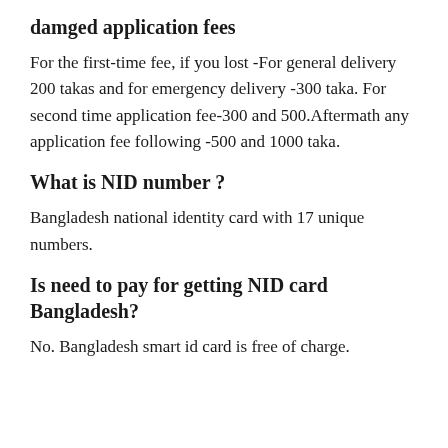damged application fees
For the first-time fee, if you lost -For general delivery 200 takas and for emergency delivery -300 taka. For second time application fee-300 and 500.Aftermath any application fee following -500 and 1000 taka.
What is NID number ?
Bangladesh national identity card with 17 unique numbers.
Is need to pay for getting NID card Bangladesh?
No. Bangladesh smart id card is free of charge.